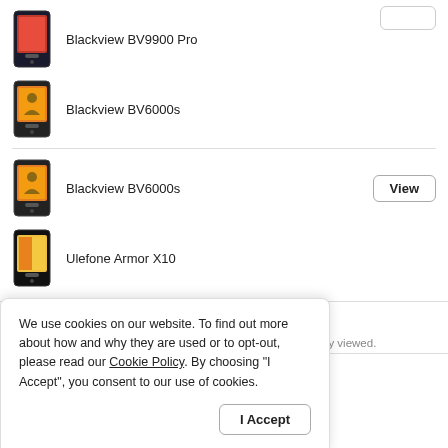Blackview BV9900 Pro
Blackview BV6000s
Blackview BV6000s
Ulefone Armor X10
Last viewed devices
List of mobile devices, whose specifications have been recently viewed.
We use cookies on our website. To find out more about how and why they are used or to opt-out, please read our Cookie Policy. By choosing "I Accept", you consent to our use of cookies.